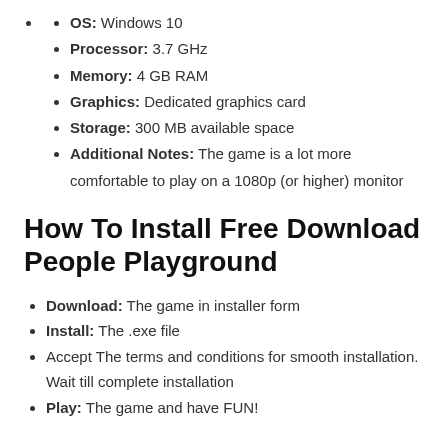OS: Windows 10
Processor: 3.7 GHz
Memory: 4 GB RAM
Graphics: Dedicated graphics card
Storage: 300 MB available space
Additional Notes: The game is a lot more comfortable to play on a 1080p (or higher) monitor
How To Install Free Download People Playground
Download: The game in installer form
Install: The .exe file
Accept The terms and conditions for smooth installation. Wait till complete installation
Play: The game and have FUN!